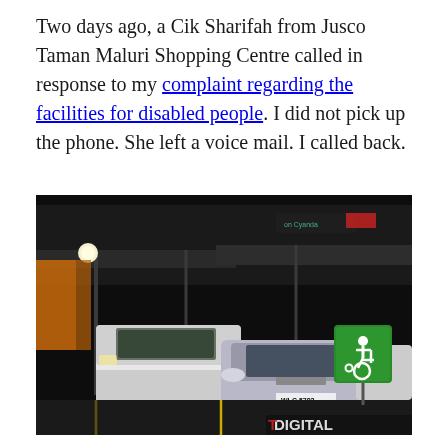Two days ago, a Cik Sharifah from Jusco Taman Maluri Shopping Centre called in response to my complaint regarding the facilities for disabled people. I did not pick up the phone. She left a voice mail. I called back.
[Figure (photo): Night-time photo of a parking lot at Jusco Taman Maluri Shopping Centre. Two cars are parked — a white minivan on the left and a silver sedan in the center. A green wheelchair/disabled parking sign is visible on the right. The shopping centre building with a canopy/awning is visible in the background. A watermark reading 'DIGITAL' appears at the bottom right.]